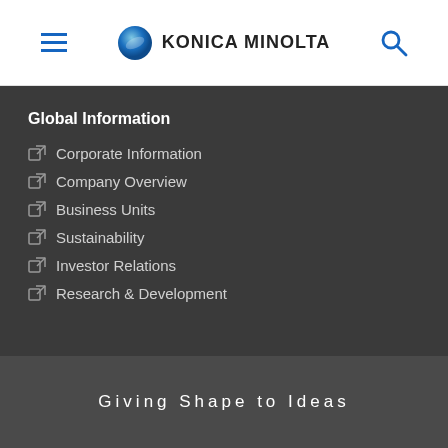Konica Minolta
Global Information
Corporate Information
Company Overview
Business Units
Sustainability
Investor Relations
Research & Development
Giving Shape to Ideas